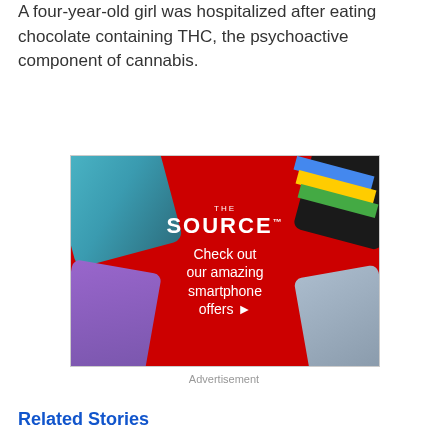A four-year-old girl was hospitalized after eating chocolate containing THC, the psychoactive component of cannabis.
[Figure (photo): Advertisement for The Source electronics retailer. Red diamond-shaped background with smartphones in corners. Text reads: 'THE SOURCE Check out our amazing smartphone offers ►']
Advertisement
Related Stories